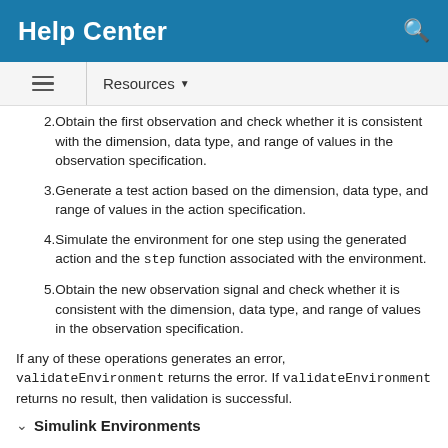Help Center
2. Obtain the first observation and check whether it is consistent with the dimension, data type, and range of values in the observation specification.
3. Generate a test action based on the dimension, data type, and range of values in the action specification.
4. Simulate the environment for one step using the generated action and the step function associated with the environment.
5. Obtain the new observation signal and check whether it is consistent with the dimension, data type, and range of values in the observation specification.
If any of these operations generates an error, validateEnvironment returns the error. If validateEnvironment returns no result, then validation is successful.
Simulink Environments